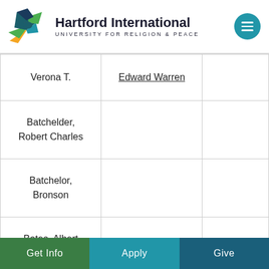Hartford International University for Religion & Peace
| Verona T. | Edward Warren |  |
| Batchelder, Robert Charles |  |  |
| Batchelor, Bronson |  |  |
| Bates, Albert Carlos |  |  |
Get Info | Apply | Give